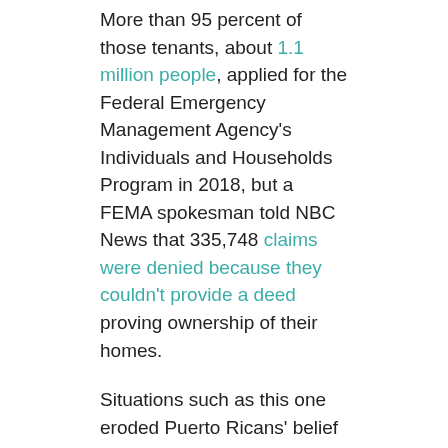More than 95 percent of those tenants, about 1.1 million people, applied for the Federal Emergency Management Agency's Individuals and Households Program in 2018, but a FEMA spokesman told NBC News that 335,748 claims were denied because they couldn't provide a deed proving ownership of their homes.
Situations such as this one eroded Puerto Ricans' belief in local and federal institutions, which have promoted new governance models, said Arturo Massol Deyá, the executive director of 40-year-old environmental nonprofit Casa Pueblo.
In 150 locations across the island territory, Casa Pueblo ensured that, after Maria, those with the most urgent need for electricity